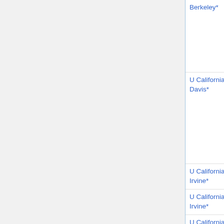| Institution | Type | Deadline | Candidates |
| --- | --- | --- | --- |
| Berkeley* | (u) |  | Dasgupta, Monica Visan, Michael Zieve, Lauren Williams □ |
| U California, Davis* | geom, prob (p) | Nov 30 | Sabin Cautis, Laurent Demanet, Vera Mikyoung Hur, Radu Laza, Dan Romik □ |
| U California, Irvine* | endowed (t) | Nov 1 | jeopardized |
| U California, Irvine* | biomath | Dec 10 | jeopardized |
| U California, Irvine* | all math | Nov 1 | Sabin Cautis, Laurent ... |